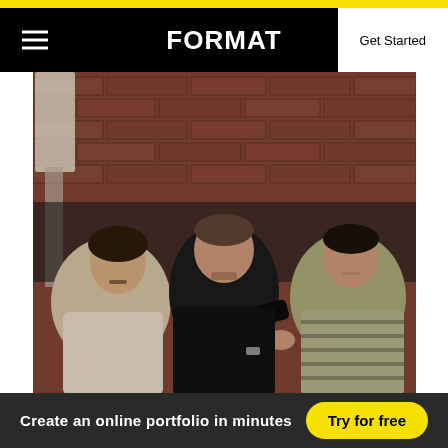FORMAT
[Figure (photo): Three young men sitting on a couch in front of a brick wall. The man on the left wears a light beige t-shirt, the man in the middle wears a black outfit and points toward the camera, the man on the right wears a striped shirt and looks surprised.]
Create an online portfolio in minutes
Try for free